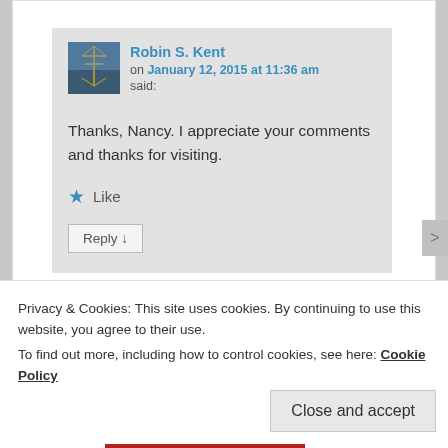Robin S. Kent
on January 12, 2015 at 11:36 am
said:
Thanks, Nancy. I appreciate your comments and thanks for visiting.
★ Like
Reply ↓
Privacy & Cookies: This site uses cookies. By continuing to use this website, you agree to their use.
To find out more, including how to control cookies, see here: Cookie Policy
Close and accept